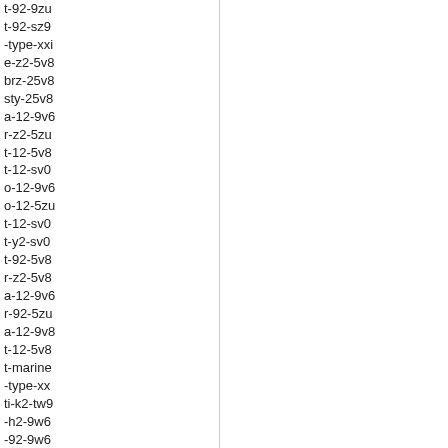t-92-9zu
t-92-sz9
-type-xxi
e-z2-5v8
brz-25v8
sty-25v8
a-12-9v6
r-z2-5zu
t-12-5v8
t-12-sv0
o-12-9v6
o-12-5zu
t-12-sv0
t-y2-sv0
t-92-5v8
r-z2-5v8
a-12-9v6
r-92-5zu
a-12-9v8
t-12-5v8
t-marine
-type-xx
ti-k2-tw9
-h2-9w6
-92-9w6
e-naples
-breguet
-w2-864
64-d00d
a-58-864
64-dood
924m01
e-naples
-tradition
a-11-9v6
o-11-9v6
a-11-9v6